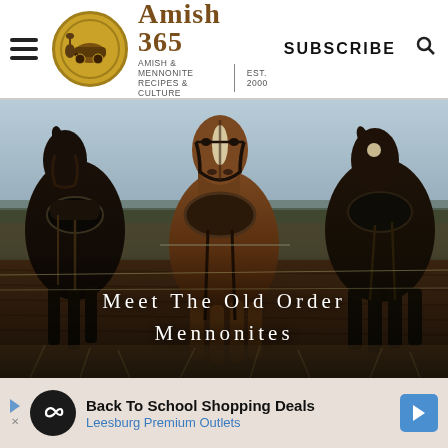Amish 365 — AMISH & MENNONITE RECIPES & CULTURE | EST. 2000 | SUBSCRIBE
[Figure (photo): Close-up photograph of draft horses wearing harnesses, standing in a plowed field. The horses are brown and dark in color. Overlaid white text reads 'Meet The Old Order Mennonites'.]
Meet The Old Order Mennonites
Back To School Shopping Deals — Leesburg Premium Outlets